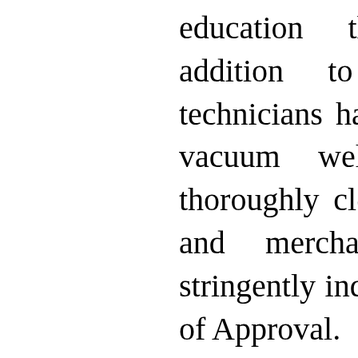education their management in addition to their cleaning up technicians have received. See if they vacuum well before they deep thoroughly clean. Ask if the products and merchandise they use are stringently individuals with a Close off of Approval.

Make sure you question what they are capable of doing for the furniture if you are working with a carpet cleaner expert. Many carpet